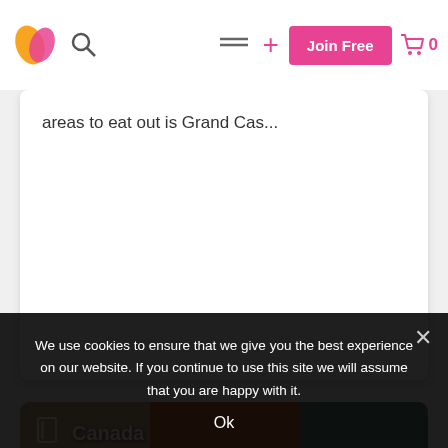[Figure (screenshot): Website navigation bar with logo (orange/pink leaf icon), search icon, hamburger menu, plus icon, pink 'Join Free' button, and pink shopping cart with '0']
areas to eat out is Grand Cas...
[Figure (photo): Large colorful street mural with faces in warm tones, overlaid with 'Canada' label and a card/device icon in the top-left corner]
We use cookies to ensure that we give you the best experience on our website. If you continue to use this site we will assume that you are happy with it.

Ok